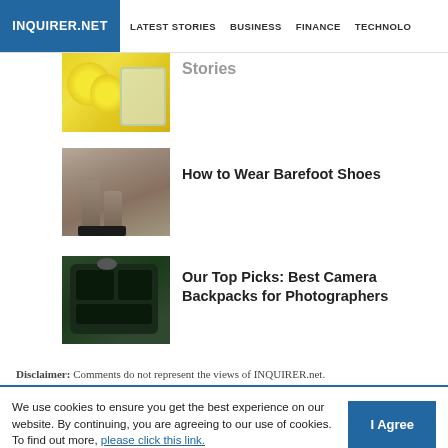INQUIRER.NET | LATEST STORIES | BUSINESS | FINANCE | TECHNOLO
[Figure (photo): Partially visible article with lemons and glass jar image, title partially cut off]
[Figure (photo): Person walking in barefoot/minimalist shoes on dirt path]
How to Wear Barefoot Shoes
[Figure (photo): Camera backpack open showing compartments for camera gear on green surface]
Our Top Picks: Best Camera Backpacks for Photographers
Disclaimer: Comments do not represent the views of INQUIRER.net.
We use cookies to ensure you get the best experience on our website. By continuing, you are agreeing to our use of cookies. To find out more, please click this link.